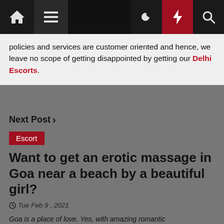Navigation bar with home, menu, search bar, moon, bolt, and search icons
policies and services are customer oriented and hence, we leave no scope of getting disappointed by getting our Delhi Escorts.
Next Post >
Escort
Want to get an erotic massage in Goa near a beach by a beautiful girl?
Tue Feb 9, 2021
Goa is a place of love. Yes, with amazing romantic